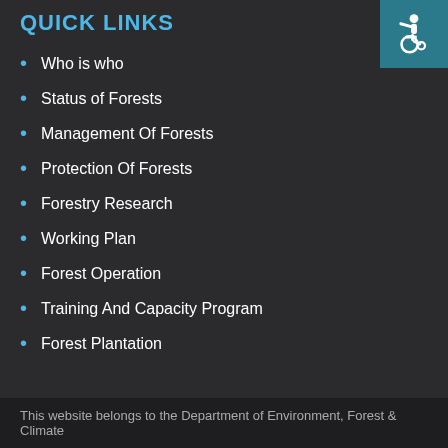QUICK LINKS
Who is who
Status of Forests
Management Of Forests
Protection Of Forests
Forestry Research
Working Plan
Forest Operation
Training And Capacity Program
Forest Plantation
[Figure (illustration): Accessibility icon (wheelchair symbol) in a teal/dark-cyan square in top-right corner]
This website belongs to the Department of Environment, Forest & Climate